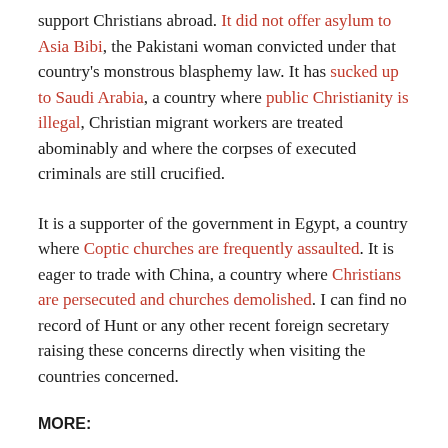support Christians abroad. It did not offer asylum to Asia Bibi, the Pakistani woman convicted under that country's monstrous blasphemy law. It has sucked up to Saudi Arabia, a country where public Christianity is illegal, Christian migrant workers are treated abominably and where the corpses of executed criminals are still crucified.
It is a supporter of the government in Egypt, a country where Coptic churches are frequently assaulted. It is eager to trade with China, a country where Christians are persecuted and churches demolished. I can find no record of Hunt or any other recent foreign secretary raising these concerns directly when visiting the countries concerned.
MORE:
https://wwwtheguardian.com/commentisfree/2019/may/03/jeremy-hunt-christian-persecution-political-correctness
SHARE THIS